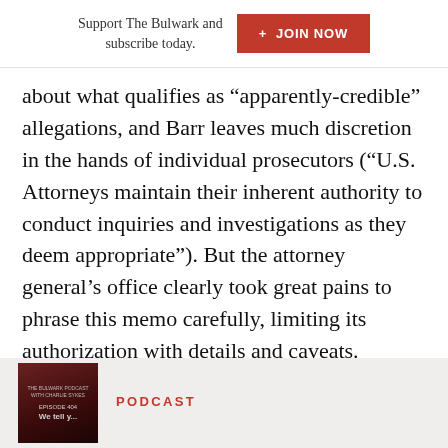Support The Bulwark and subscribe today. + JOIN NOW
about what qualifies as “apparently-credible” allegations, and Barr leaves much discretion in the hands of individual prosecutors (“U.S. Attorneys maintain their inherent authority to conduct inquiries and investigations as they deem appropriate”). But the attorney general’s office clearly took great pains to phrase this memo carefully, limiting its authorization with details and caveats. Anyone who reads this memo from start to finish will see these nuances.
PODCAST